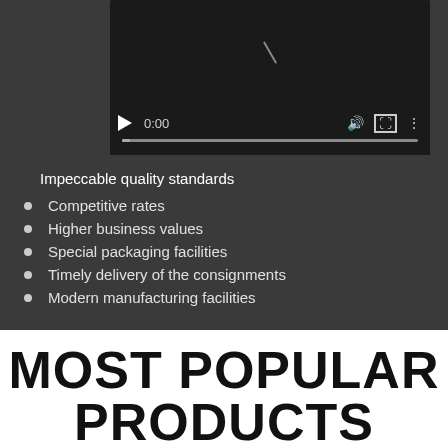[Figure (screenshot): Video player with dark background, showing playback controls: play button, timestamp 0:00, volume icon, fullscreen icon, more options icon, and a progress bar. A diagonal slash mark is visible in the upper portion of the video area.]
Impeccable quality standards
Competitive rates
Higher business values
Special packaging facilities
Timely delivery of the consignments
Modern manufacturing facilities
MOST POPULAR PRODUCTS